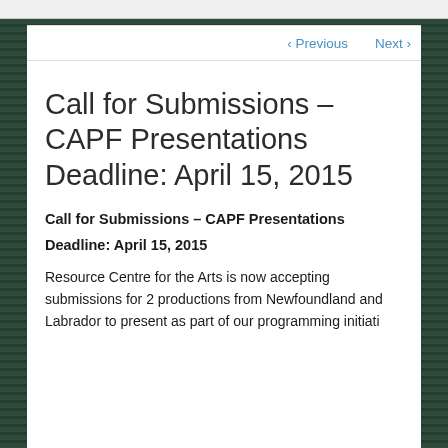< Previous   Next >
Call for Submissions – CAPF Presentations Deadline: April 15, 2015
Call for Submissions – CAPF Presentations
Deadline: April 15, 2015
Resource Centre for the Arts is now accepting submissions for 2 productions from Newfoundland and Labrador to present as part of our programming initiative